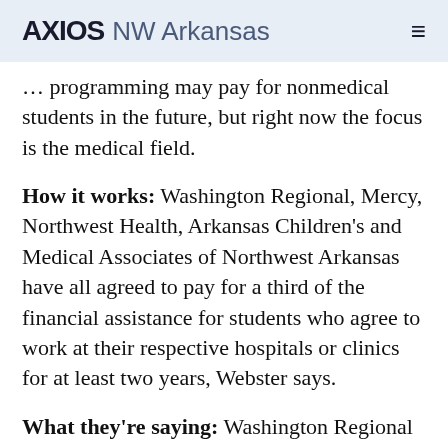AXIOS NW Arkansas
nonmedical students in the future, but right now the focus is the medical field.
How it works: Washington Regional, Mercy, Northwest Health, Arkansas Children's and Medical Associates of Northwest Arkansas have all agreed to pay for a third of the financial assistance for students who agree to work at their respective hospitals or clinics for at least two years, Webster says.
What they're saying: Washington Regional will hire more nurse educators in order to train the additional nursing students that are expected as a result of Upskill NWA, spokesperson